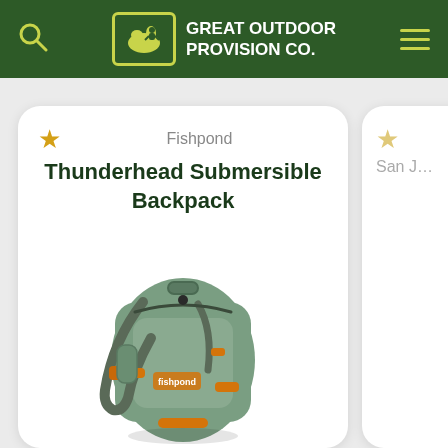Great Outdoor Provision Co.
Fishpond
Thunderhead Submersible Backpack
[Figure (photo): Olive green submersible backpack with orange accents, shoulder straps, and waterproof zipper — Fishpond Thunderhead Submersible Backpack]
$299.95